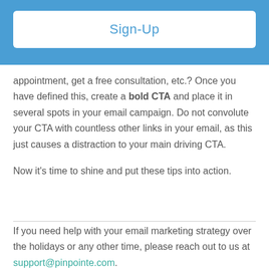[Figure (other): Blue header bar with Sign-Up button]
appointment, get a free consultation, etc.? Once you have defined this, create a bold CTA and place it in several spots in your email campaign. Do not convolute your CTA with countless other links in your email, as this just causes a distraction to your main driving CTA.

Now it's time to shine and put these tips into action.
If you need help with your email marketing strategy over the holidays or any other time, please reach out to us at support@pinpointe.com.